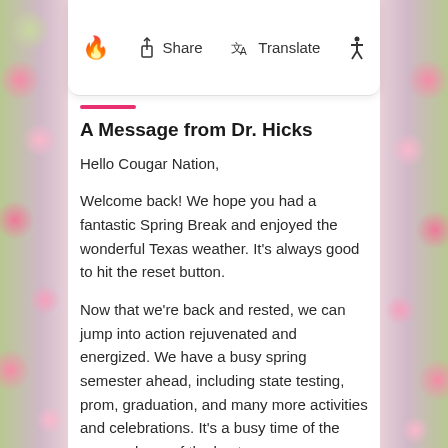[Figure (screenshot): Mobile app toolbar with fire emoji icon, Share button with upload icon, Translate button with translation icon, and accessibility (person) icon]
A Message from Dr. Hicks
Hello Cougar Nation,
Welcome back! We hope you had a fantastic Spring Break and enjoyed the wonderful Texas weather. It's always good to hit the reset button.
Now that we're back and rested, we can jump into action rejuvenated and energized. We have a busy spring semester ahead, including state testing, prom, graduation, and many more activities and celebrations. It's a busy time of the year and one of the best.
We have fantastic news and plenty to celebrate with our Jarrell High School WinterGuard winning the Texas Color Guard Circuit Novice Class State Champions on